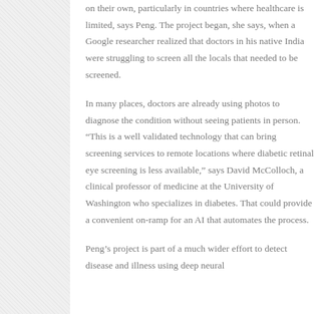on their own, particularly in countries where healthcare is limited, says Peng. The project began, she says, when a Google researcher realized that doctors in his native India were struggling to screen all the locals that needed to be screened.
In many places, doctors are already using photos to diagnose the condition without seeing patients in person. “This is a well validated technology that can bring screening services to remote locations where diabetic retinal eye screening is less available,” says David McColloch, a clinical professor of medicine at the University of Washington who specializes in diabetes. That could provide a convenient on-ramp for an AI that automates the process.
Peng’s project is part of a much wider effort to detect disease and illness using deep neural